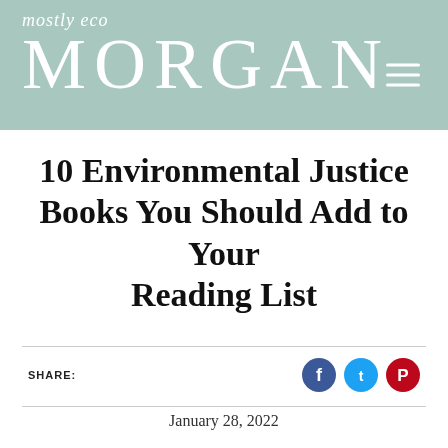mostly eco MORGAN
10 Environmental Justice Books You Should Add to Your Reading List
SHARE:
January 28, 2022